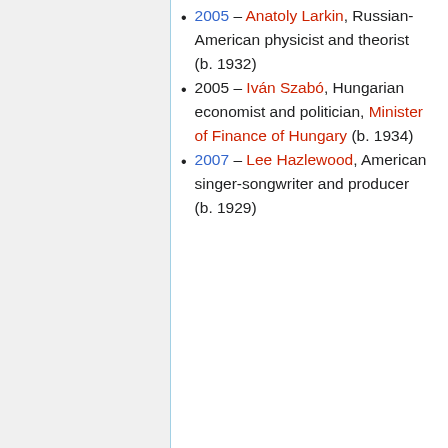2005 – Anatoly Larkin, Russian-American physicist and theorist (b. 1932)
2005 – Iván Szabó, Hungarian economist and politician, Minister of Finance of Hungary (b. 1934)
2007 – Lee Hazlewood, American singer-songwriter and producer (b. 1929)